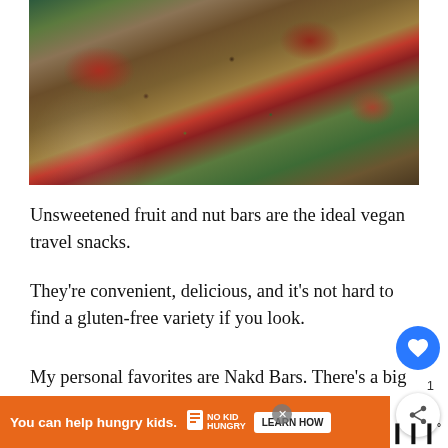[Figure (photo): Photo of chocolate bark or granola bars topped with dried cranberries, seeds, nuts, and green pistachios on a dark surface]
Unsweetened fruit and nut bars are the ideal vegan travel snacks.
They're convenient, delicious, and it's not hard to find a gluten-free variety if you look.
My personal favorites are Nakd Bars. There's a big selection of fun flavors like Bakewell Tart, Blueberry Muffin, and Lemon Drizzle.
On top of this, they're also dairy-free and contain no wheat whatsoever. Stock up on a box
[Figure (infographic): Ad bar: You can help hungry kids. No Kid Hungry. LEARN HOW button.]
[Figure (infographic): What's Next panel showing Vegan Camping Fo... thumbnail]